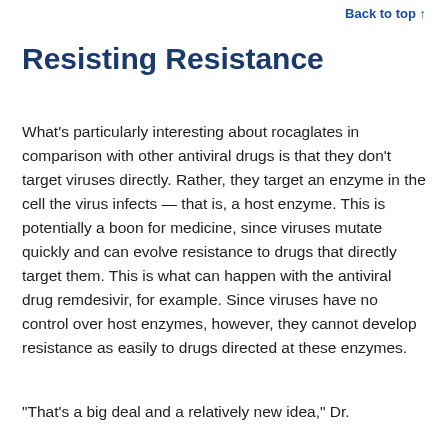Back to top ↑
Resisting Resistance
What's particularly interesting about rocaglates in comparison with other antiviral drugs is that they don't target viruses directly. Rather, they target an enzyme in the cell the virus infects — that is, a host enzyme. This is potentially a boon for medicine, since viruses mutate quickly and can evolve resistance to drugs that directly target them. This is what can happen with the antiviral drug remdesivir, for example. Since viruses have no control over host enzymes, however, they cannot develop resistance as easily to drugs directed at these enzymes.
“That’s a big deal and a relatively new idea,” Dr.